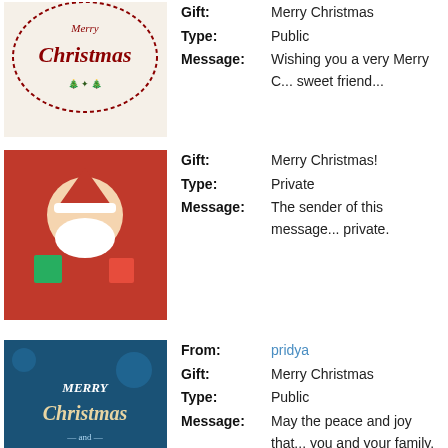[Figure (illustration): Merry Christmas decorative image (classic style)]
Gift: Merry Christmas
Type: Public
Message: Wishing you a very Merry C... sweet friend...
[Figure (illustration): Santa Claus holding gifts image]
Gift: Merry Christmas!
Type: Private
Message: The sender of this message... private.
[Figure (illustration): Merry Christmas and Happy New Year blue card]
From: pridya
Gift: Merry Christmas
Type: Public
Message: May the peace and joy that... you and your family. Merry... dear friend!.
[Figure (illustration): Merry Christmas red text on white image]
From: Ron-Will
Gift: Merry Christmas
Type: Public
Message: Thank you dear.I wish you h...
[Figure (illustration): Santa Claus image]
From: marlino24
Gift: Merry Christmas!
Type: Public